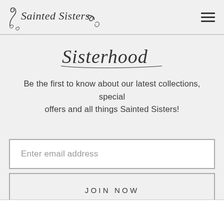Sainted Sisters
Sisterhood
Be the first to know about our latest collections, special offers and all things Sainted Sisters!
Enter email address
JOIN NOW